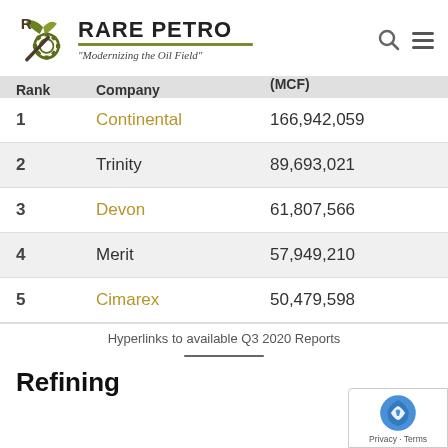[Figure (logo): Rare Petro logo with pickaxe and gear icon, brand name 'RARE PETRO' and tagline 'Modernizing the Oil Field']
| Rank | Company | (MCF) |
| --- | --- | --- |
| 1 | Continental | 166,942,059 |
| 2 | Trinity | 89,693,021 |
| 3 | Devon | 61,807,566 |
| 4 | Merit | 57,949,210 |
| 5 | Cimarex | 50,479,598 |
Hyperlinks to available Q3 2020 Reports
Refining